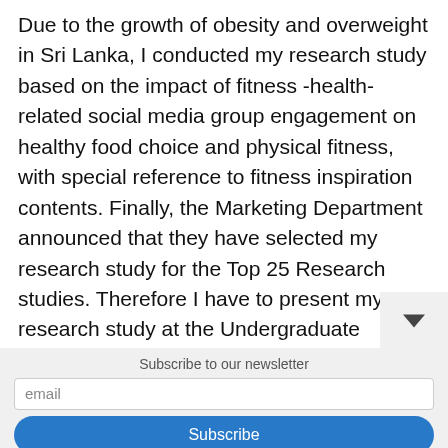Due to the growth of obesity and overweight in Sri Lanka, I conducted my research study based on the impact of fitness -health-related social media group engagement on healthy food choice and physical fitness, with special reference to fitness inspiration contents. Finally, the Marketing Department announced that they have selected my research study for the Top 25 Research studies. Therefore I have to present my research study at the Undergraduate research symposium of the Department of Marketing Management that will be held on 6th April. I
Subscribe to our newsletter
email
Subscribe